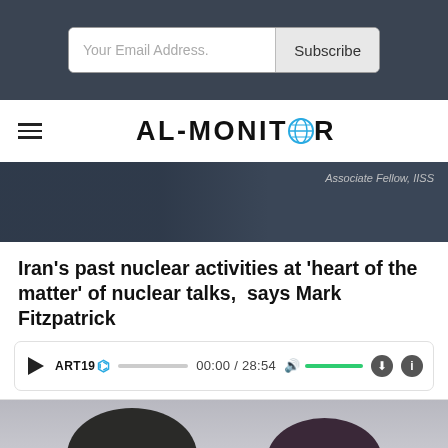Your Email Address. Subscribe
[Figure (logo): AL-MONITOR logo with globe icon]
[Figure (photo): Dark blue-toned banner image with text overlay reading 'Associate Fellow, IISS']
Iran’s past nuclear activities at ‘heart of the matter’ of nuclear talks,  says Mark Fitzpatrick
[Figure (other): ART19 audio player widget showing 00:00 / 28:54]
[Figure (photo): Two people photographed from the shoulders up against a gray background]